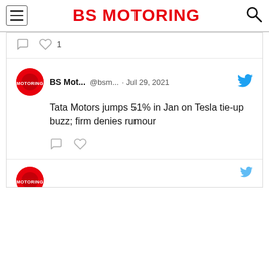BS MOTORING
[Figure (screenshot): Twitter/social media feed showing a BS Motoring tweet from Jul 29, 2021: 'Tata Motors jumps 51% in Jan on Tesla tie-up buzz; firm denies rumour'. Includes reply and like icons.]